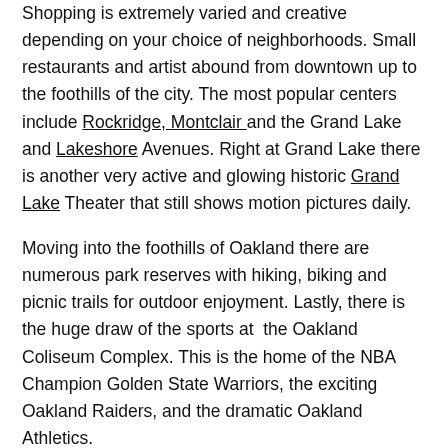Shopping is extremely varied and creative depending on your choice of neighborhoods.  Small restaurants and artist abound from downtown up to the foothills of the city.  The most popular centers include Rockridge, Montclair and the Grand Lake and Lakeshore Avenues.  Right at Grand Lake there is another very active and glowing historic Grand Lake Theater that still shows motion pictures daily.
Moving into the foothills of Oakland there are numerous park reserves with hiking, biking and picnic trails for outdoor enjoyment.  Lastly, there is  the huge draw of the sports at  the Oakland Coliseum Complex.  This is the home of the NBA Champion Golden State Warriors, the exciting Oakland Raiders, and the dramatic Oakland Athletics.